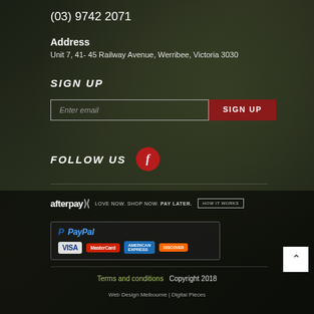(03) 9742 2071
Address
Unit 7, 41- 45 Railway Avenue, Werribee, Victoria 3030
SIGN UP
[Figure (other): Email signup form with text input and red SIGN UP button]
FOLLOW US
[Figure (other): Facebook icon circle button]
[Figure (logo): Afterpay logo with tagline LOVE NOW. SHOP NOW. PAY LATER. and HOW IT WORKS button]
[Figure (other): PayPal logo with VISA, MasterCard, American Express, and Discover card badges]
Terms and conditions  Copyright 2018
Web Design Melbourne | Digital Pieces